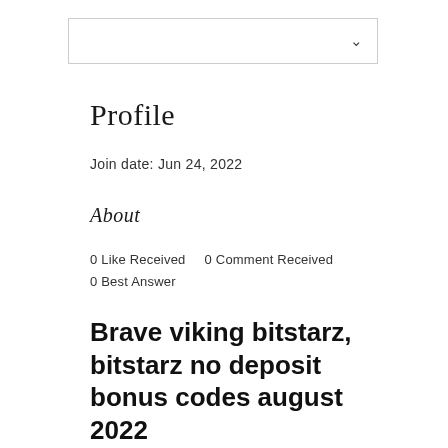[Figure (other): Dropdown/select box UI element with chevron arrow on the right]
Profile
Join date: Jun 24, 2022
About
0 Like Received    0 Comment Received
0 Best Answer
Brave viking bitstarz, bitstarz no deposit bonus codes august 2022